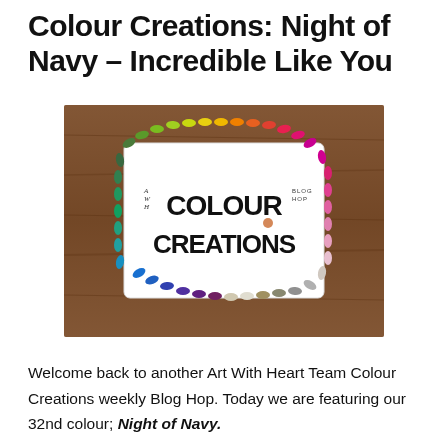Colour Creations: Night of Navy – Incredible Like You
[Figure (photo): A decorative 'Colour Creations Blog Hop' sign displayed on a wooden surface, surrounded by a rainbow border of paper flowers and leaves in all colors of the spectrum.]
Welcome back to another Art With Heart Team Colour Creations weekly Blog Hop. Today we are featuring our 32nd colour; Night of Navy.